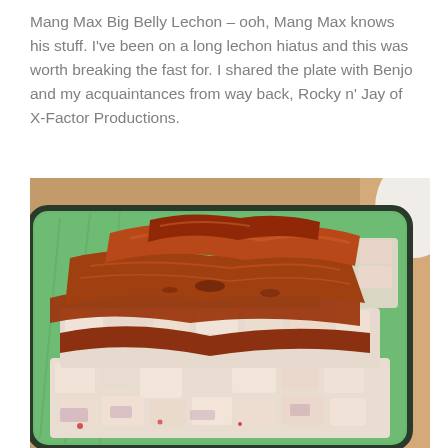Mang Max Big Belly Lechon – ooh, Mang Max knows his stuff. I've been on a long lechon hiatus and this was worth breaking the fast for. I shared the plate with Benjo and my acquaintances from way back, Rocky n' Jay of X-Factor Productions.
[Figure (photo): Close-up photo of lechon (roasted pork) pieces with crispy brown skin arranged on a green rectangular plate, showing sliced pork belly and crispy skin on top, placed on a wooden table background.]